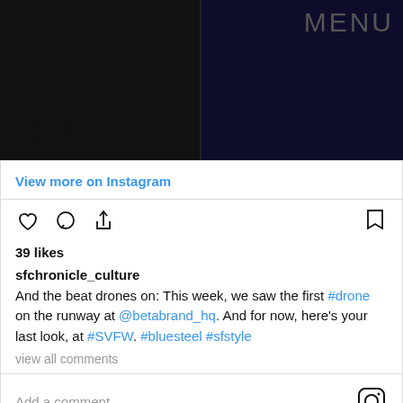[Figure (screenshot): Instagram post image showing two dark photos side by side: left with large 'MIC' text, right with 'MENU' text on dark background]
View more on Instagram
[Figure (infographic): Instagram action icons: heart (like), speech bubble (comment), share arrow, and bookmark icon]
39 likes
sfchronicle_culture And the beat drones on: This week, we saw the first #drone on the runway at @betabrand_hq. And for now, here's your last look, at #SVFW. #bluesteel #sfstyle
view all comments
Add a comment...
As much as we love the idea of Anna Wintour sitting front row at New York Fashion Week watching drones